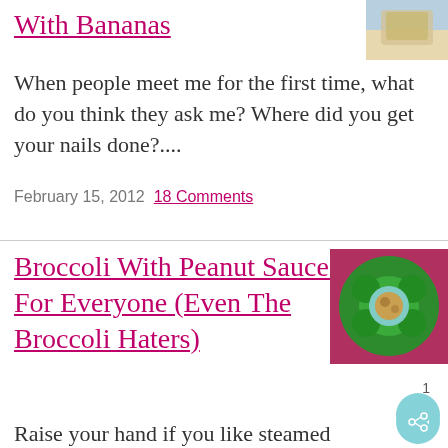With Bananas
[Figure (photo): Food photo thumbnail at top right]
When people meet me for the first time, what do you think they ask me? Where did you get your nails done?....
February 15, 2012  18 Comments
Broccoli With Peanut Sauce Is For Everyone (Even The Broccoli Haters)
[Figure (photo): Photo of broccoli with peanut sauce in a bowl on red background]
Raise your hand if you like steamed broccoli with nothing on it! One, two.....TWO of you :).....